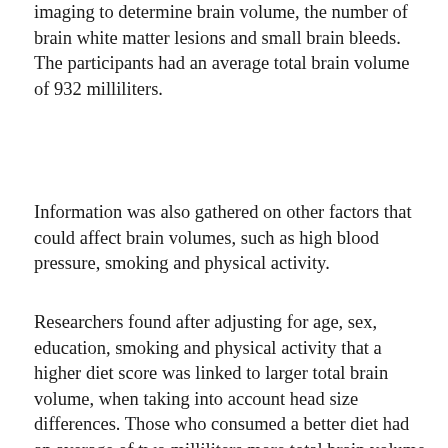imaging to determine brain volume, the number of brain white matter lesions and small brain bleeds. The participants had an average total brain volume of 932 milliliters.
Information was also gathered on other factors that could affect brain volumes, such as high blood pressure, smoking and physical activity.
Researchers found after adjusting for age, sex, education, smoking and physical activity that a higher diet score was linked to larger total brain volume, when taking into account head size differences. Those who consumed a better diet had an average of two milliliters more total brain volume than those who did not. To compare, having a brain volume that is 3.6 milliliters smaller is equivalent to one year of aging.
Diet was not linked to brain white matter lesions or small